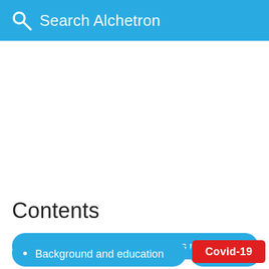Search Alchetron
Contents
Buganda prime minister charles mayiga highl
Background and education
Career
Covid-19